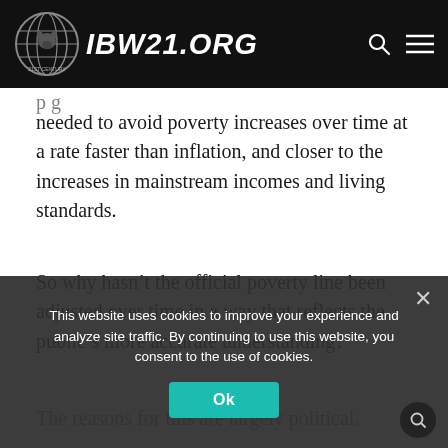IBW21.ORG
needed to avoid poverty increases over time at a rate faster than inflation, and closer to the increases in mainstream incomes and living standards.
So why hasn't the official poverty line been adjusted over time in a way that reflects the public's more accurate understanding?
The reasons for this are largely political.
This website uses cookies to improve your experience and analyze site traffic. By continuing to use this website, you consent to the use of cookies.